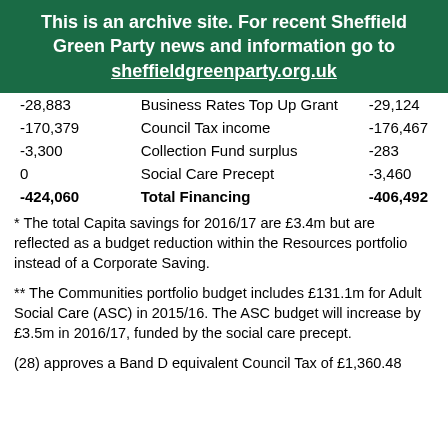This is an archive site. For recent Sheffield Green Party news and information go to sheffieldgreenparty.org.uk
| Value | Description | Value |
| --- | --- | --- |
| -28,883 | Business Rates Top Up Grant | -29,124 |
| -170,379 | Council Tax income | -176,467 |
| -3,300 | Collection Fund surplus | -283 |
| 0 | Social Care Precept | -3,460 |
| -424,060 | Total Financing | -406,492 |
* The total Capita savings for 2016/17 are £3.4m but are reflected as a budget reduction within the Resources portfolio instead of a Corporate Saving.
** The Communities portfolio budget includes £131.1m for Adult Social Care (ASC) in 2015/16. The ASC budget will increase by £3.5m in 2016/17, funded by the social care precept.
(28) approves a Band D equivalent Council Tax of £1,360.48